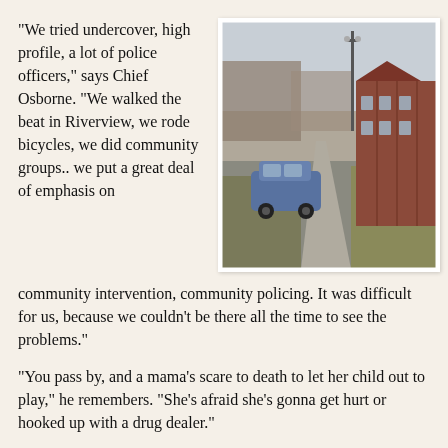"We tried undercover, high profile, a lot of police officers," says Chief Osborne. "We walked the beat in Riverview, we rode bicycles, we did community groups.. we put a great deal of emphasis on community intervention, community policing. It was difficult for us, because we couldn't be there all the time to see the problems."
[Figure (photo): Street-level photo of a residential neighborhood showing a sidewalk running along a row of brick rowhouses or apartments on the right side. A blue car is parked along the left curb. The scene appears to be winter or early spring with sparse grass and bare trees. A utility pole with lights is visible in the background.]
"You pass by, and a mama's scare to death to let her child out to play," he remembers. "She's afraid she's gonna get hurt or hooked up with a drug dealer."